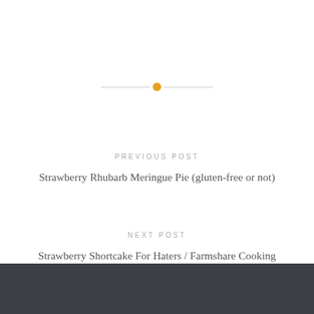[Figure (other): Horizontal divider with orange circle in center, flanked by thin gray lines]
PREVIOUS POST
Strawberry Rhubarb Meringue Pie (gluten-free or not)
NEXT POST
Strawberry Shortcake For Haters / Farmshare Cooking